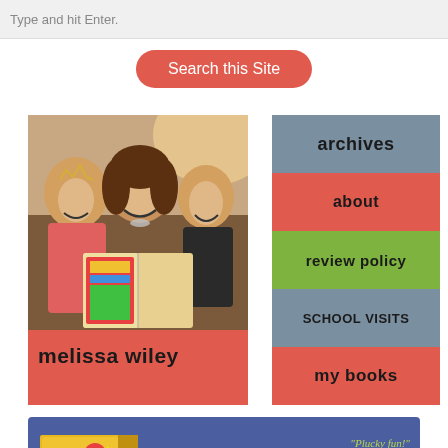Type and hit Enter.
Search this Site
[Figure (photo): Photo of Melissa Wiley with two children reading a book, laughing]
MELISSA WILEY
archives
about
review policy
SCHOOL VISITS
my BOOKS
[Figure (photo): Book cover: The Nerviest Girl in the World]
"Plucky fun!" —Kirkus
"Wiley's novel is a thrill ride excitingly grounded in film history, which is discussed in a fascinating afterword. Best of all is Pearl, a treasure of a protagonist